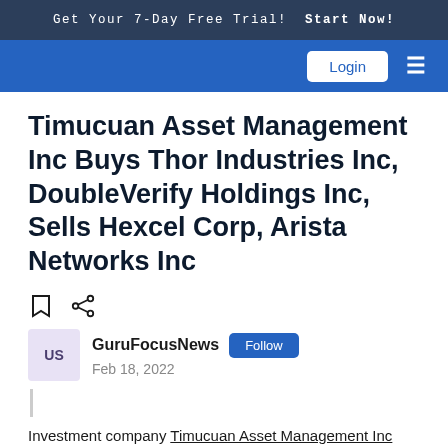Get Your 7-Day Free Trial!  Start Now!
Login
Timucuan Asset Management Inc Buys Thor Industries Inc, DoubleVerify Holdings Inc, Sells Hexcel Corp, Arista Networks Inc
GuruFocusNews  Follow
Feb 18, 2022
Investment company Timucuan Asset Management Inc (Current Portfolio) has Thor Industries Inc, DoubleVerify...